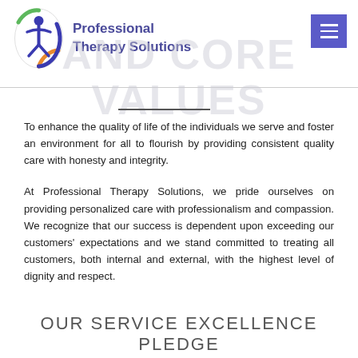[Figure (logo): Professional Therapy Solutions logo with circular figure icon in green/orange/blue and purple text]
To enhance the quality of life of the individuals we serve and foster an environment for all to flourish by providing consistent quality care with honesty and integrity.
At Professional Therapy Solutions, we pride ourselves on providing personalized care with professionalism and compassion. We recognize that our success is dependent upon exceeding our customers' expectations and we stand committed to treating all customers, both internal and external, with the highest level of dignity and respect.
OUR SERVICE EXCELLENCE PLEDGE